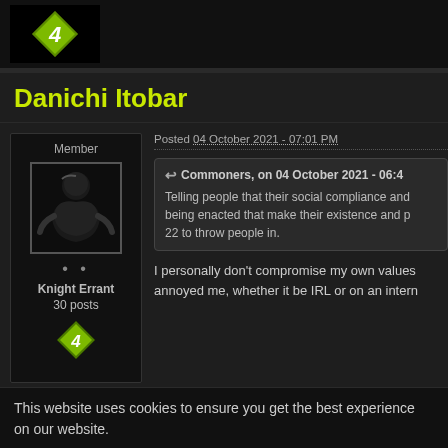[Figure (screenshot): Top bar with black background showing a badge icon with number 4 in green diamond shape]
Danichi Itobar
Member
[Figure (photo): Dark silhouette avatar image of a figure]
Knight Errant
30 posts
Posted 04 October 2021 - 07:01 PM
Commoners, on 04 October 2021 - 06:4
Telling people that their social compliance and being enacted that make their existence and p 22 to throw people in.
I personally don't compromise my own values annoyed me, whether it be IRL or on an intern
This website uses cookies to ensure you get the best experience on our website.